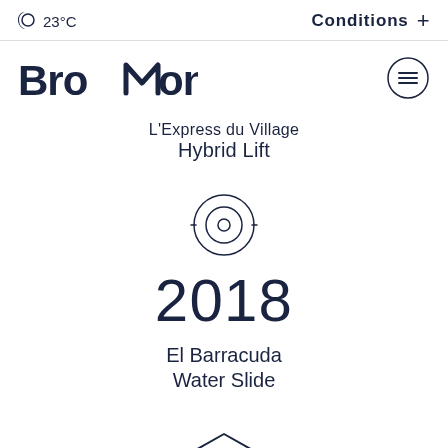23°C   Conditions +
[Figure (logo): Bromont logo with stylized mountain peak replacing the letter M]
L'Express du Village
Hybrid Lift
[Figure (illustration): Circular target/bullseye icon representing a lift or attraction]
2018
El Barracuda
Water Slide
[Figure (illustration): Building/barn icon at the bottom of the page]